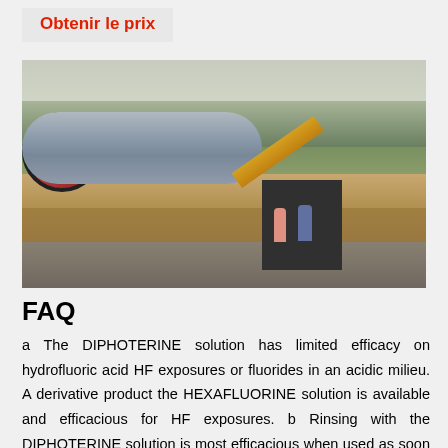Obtenir le prix
[Figure (photo): Outdoor industrial scene with a large horizontal ball mill cylinder on the left, a yellow conveyor belt in the center, workers near a dark structure, and a dirt/gravel mound on the right. Trees visible in the background against a hazy sky.]
FAQ
a The DIPHOTERINE solution has limited efficacy on hydrofluoric acid HF exposures or fluorides in an acidic milieu. A derivative product the HEXAFLUORINE solution is available and efficacious for HF exposures. b Rinsing with the DIPHOTERINE solution is most efficacious when used as soon as possible after the skin/eye chemical exposure within the first minute.